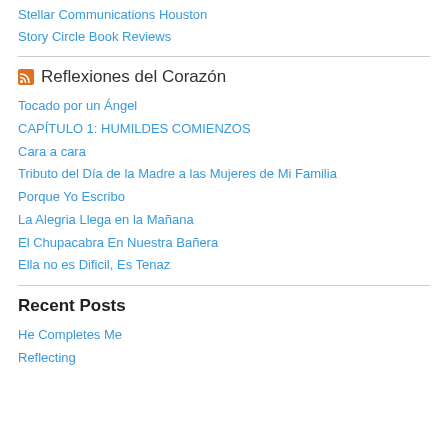Stellar Communications Houston
Story Circle Book Reviews
Reflexiones del Corazón
Tocado por un Ángel
CAPÍTULO 1: HUMILDES COMIENZOS
Cara a cara
Tributo del Día de la Madre a las Mujeres de Mi Familia
Porque Yo Escribo
La Alegria Llega en la Mañana
El Chupacabra En Nuestra Bañera
Ella no es Dificil, Es Tenaz
Recent Posts
He Completes Me
Reflecting